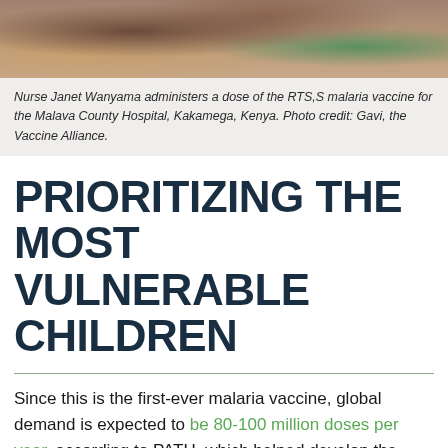[Figure (photo): Photo of Nurse Janet Wanyama administering a dose of the RTS,S malaria vaccine at the Malava County Hospital, Kakamega, Kenya.]
Nurse Janet Wanyama administers a dose of the RTS,S malaria vaccine for the Malava County Hospital, Kakamega, Kenya. Photo credit: Gavi, the Vaccine Alliance.
PRIORITIZING THE MOST VULNERABLE CHILDREN
Since this is the first-ever malaria vaccine, global demand is expected to be 80-100 million doses per year, according to PATH, which helped develop the vaccine. However, in the short term, supply is expected to reach only 15 million doses annually. Therefore, this initial rollout of vaccines must prioritize the most vulnerable and high-risk populations, such as children with limited access to